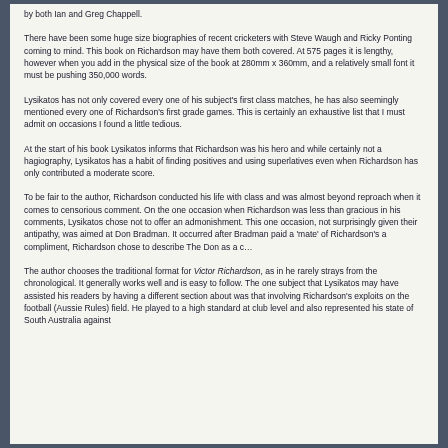by both Ian and Greg Chappell.
There have been some huge size biographies of recent cricketers with Steve Waugh and Ricky Ponting coming to mind. This book on Richardson may have them both covered. At 575 pages it is lengthy, however when you add in the physical size of the book at 280mm x 360mm, and a relatively small font it must be pushing 350,000 words.
Lysikatos has not only covered every one of his subject's first class matches, he has also seemingly mentioned every one of Richardson's first grade games. This is certainly an exhaustive list that I must admit on occasions I found a little tedious.
At the start of his book Lysikatos informs that Richardson was his hero and while certainly not a hagiography, Lysikatos has a habit of finding positives and using superlatives even when Richardson has only contributed a moderate score.
To be fair to the author, Richardson conducted his life with class and was almost beyond reproach when it comes to censorious comment. On the one occasion when Richardson was less than gracious in his comments, Lysikatos chose not to offer an admonishment. This one occasion, not surprisingly given their antipathy, was aimed at Don Bradman. It occurred after Bradman paid a 'mate' of Richardson's a compliment, Richardson chose to describe The Don as a c…
The author chooses the traditional format for Victor Richardson, as in he rarely strays from the chronological. It generally works well and is easy to follow. The one subject that Lysikatos may have assisted his readers by having a different section about was that involving Richardson's exploits on the football (Aussie Rules) field. He played to a high standard at club level and also represented his state of South Australia against